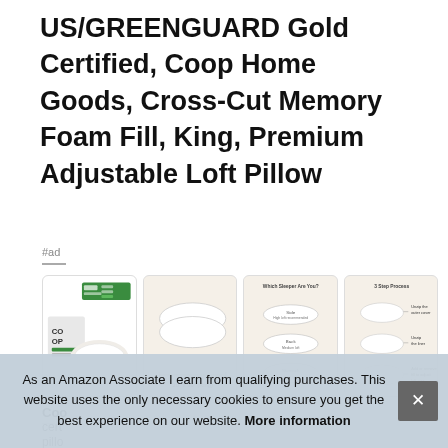US/GREENGUARD Gold Certified, Coop Home Goods, Cross-Cut Memory Foam Fill, King, Premium Adjustable Loft Pillow
#ad
[Figure (photo): Four product thumbnail images showing the Coop Home Goods pillow, its dimensions, a sleeper type guide, and a 3-step process diagram]
Coo
cert
pillo
As an Amazon Associate I earn from qualifying purchases. This website uses the only necessary cookies to ensure you get the best experience on our website. More information